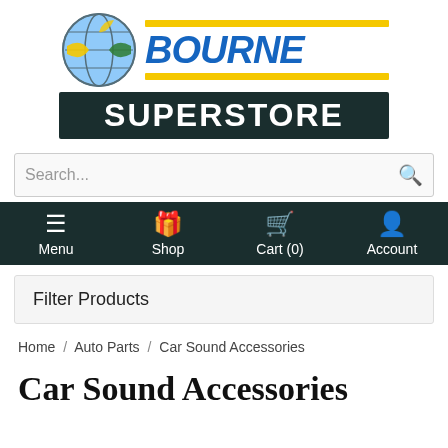[Figure (logo): Bourne Superstore logo with globe icon, BOURNE in blue italic, SUPERSTORE in white on dark teal background, with yellow horizontal bars]
Search...
Menu  Shop  Cart (0)  Account
Filter Products
Home / Auto Parts / Car Sound Accessories
Car Sound Accessories